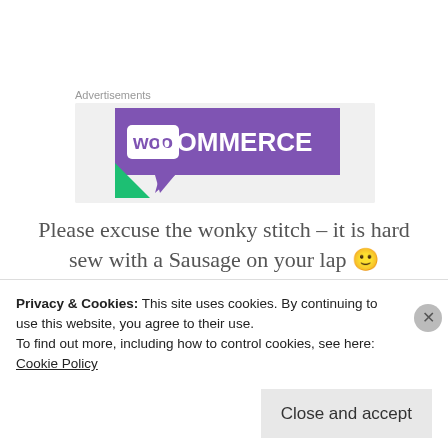Advertisements
[Figure (logo): WooCommerce advertisement banner with purple background and white WooCommerce logo text]
Please excuse the wonky stitch – it is hard sew with a Sausage on your lap 🙂
[Figure (photo): Dark photo strip, partially visible, showing a red circular light against black background]
Privacy & Cookies: This site uses cookies. By continuing to use this website, you agree to their use. To find out more, including how to control cookies, see here: Cookie Policy
Close and accept